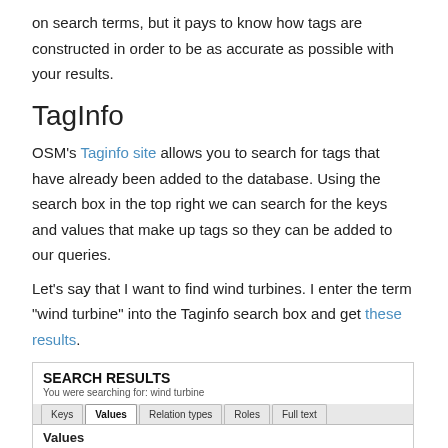on search terms, but it pays to know how tags are constructed in order to be as accurate as possible with your results.
TagInfo
OSM's Taginfo site allows you to search for tags that have already been added to the database. Using the search box in the top right we can search for the keys and values that make up tags so they can be added to our queries.
Let's say that I want to find wind turbines. I enter the term “wind turbine” into the Taginfo search box and get these results.
[Figure (screenshot): Screenshot of Taginfo search results page showing 'SEARCH RESULTS' header, subtitle 'You were searching for: wind turbine', tabs for Keys, Values (active), Relation types, Roles, Full text. Values section showing a table with Count, Key, Value columns. Rows: 240052 generator:method wind_turbine; 1783 plant:method wind_turbine; 1129 generator:type wind_turbine.]